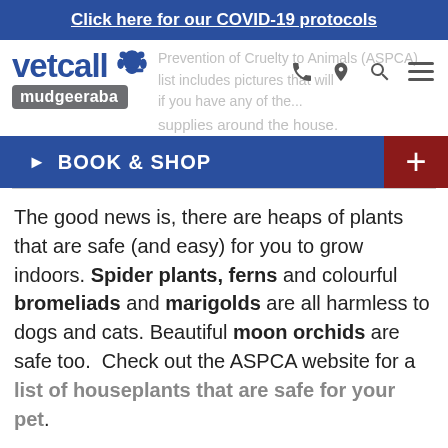Click here for our COVID-19 protocols
[Figure (logo): Vetcall Mudgeeraba logo with dog silhouette icon, phone, location, search, and menu icons in header]
Prevention of Cruelty to Animals (ASPCA) list includes pictures that will if you have any of the... supplies around the house.
BOOK & SHOP
The good news is, there are heaps of plants that are safe (and easy) for you to grow indoors. Spider plants, ferns and colourful bromeliads and marigolds are all harmless to dogs and cats. Beautiful moon orchids are safe too. Check out the ASPCA website for a list of houseplants that are safe for your pet.
Cats seem to be more into plants... catnip